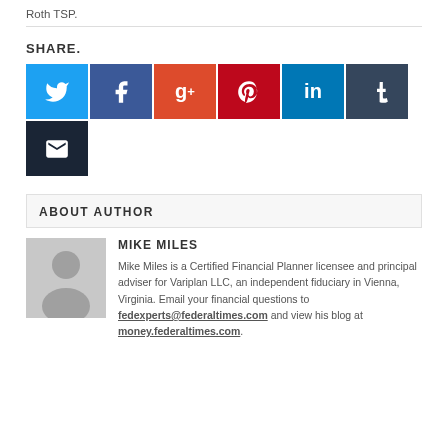Roth TSP.
SHARE.
[Figure (infographic): Social share buttons: Twitter, Facebook, Google+, Pinterest, LinkedIn, Tumblr, Email]
ABOUT AUTHOR
[Figure (photo): Author avatar placeholder - grey silhouette of a person]
MIKE MILES
Mike Miles is a Certified Financial Planner licensee and principal adviser for Variplan LLC, an independent fiduciary in Vienna, Virginia. Email your financial questions to fedexperts@federaltimes.com and view his blog at money.federaltimes.com.